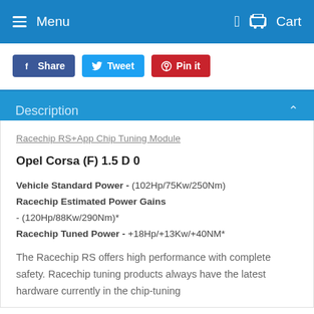Menu   Cart
Share
Tweet
Pin it
Description
Racechip RS+App Chip Tuning Module
Opel Corsa (F) 1.5 D 0
Vehicle Standard Power - (102Hp/75Kw/250Nm) Racechip Estimated Power Gains - (120Hp/88Kw/290Nm)* Racechip Tuned Power - +18Hp/+13Kw/+40NM*
The Racechip RS offers high performance with complete safety. Racechip tuning products always have the latest hardware currently in the chip-tuning